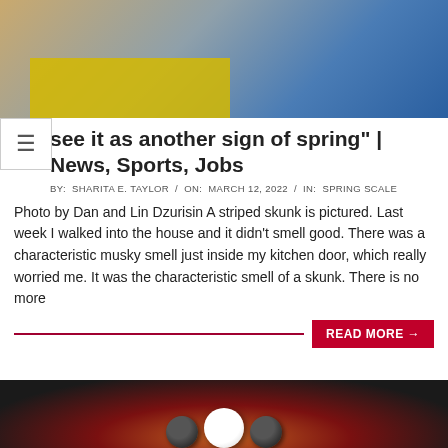[Figure (photo): Photo of a dog or animal on a yellow table with a person wearing a blue jacket in the background]
see it as another sign of spring" | News, Sports, Jobs
BY: SHARITA E. TAYLOR / ON: MARCH 12, 2022 / IN: SPRING SCALE
Photo by Dan and Lin Dzurisin A striped skunk is pictured. Last week I walked into the house and it didn't smell good. There was a characteristic musky smell just inside my kitchen door, which really worried me. It was the characteristic smell of a skunk. There is no more
READ MORE →
[Figure (photo): Dark framed image with colorful background and round objects/balls]